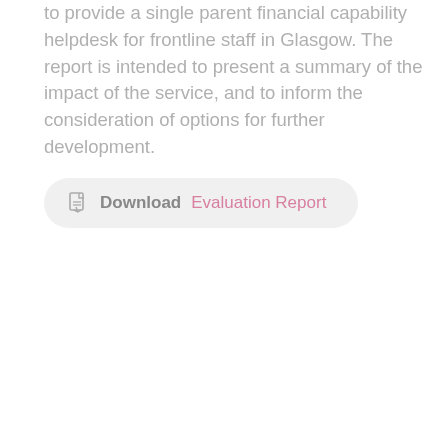to provide a single parent financial capability helpdesk for frontline staff in Glasgow. The report is intended to present a summary of the impact of the service, and to inform the consideration of options for further development.
[Figure (other): A download button with a PDF icon, bold text 'Download' and a pink link text 'Evaluation Report' on a light grey rounded rectangle background.]